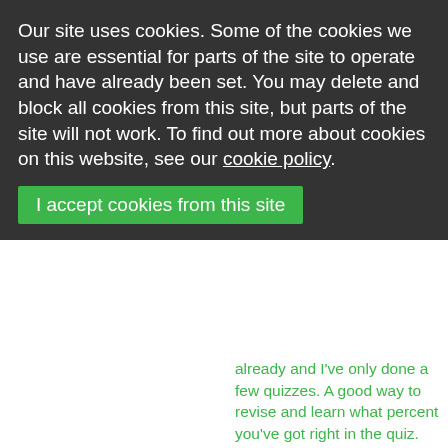Our site uses cookies. Some of the cookies we use are essential for parts of the site to operate and have already been set. You may delete and block all cookies from this site, but parts of the site will not work. To find out more about cookies on this website, see our cookie policy.
I accept cookies from this site
already and I've only done a few quizzes. A good way to revise and learn what percent you've got right in the quiz.
I liked that we could have competitions between our friends and challenge others to see who could get the top marks.
I found it an easy and useful way to revise things I wasn't that confident on. It also helped to remind me of topics I did last year that I had forgotten about.